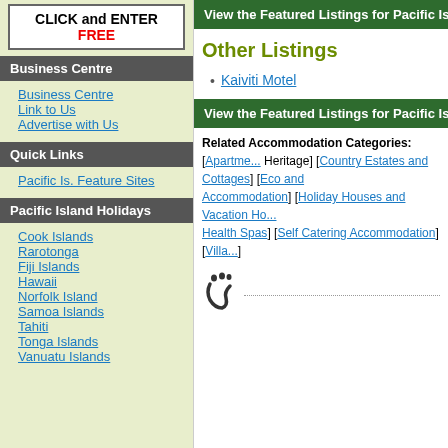[Figure (other): Banner with text CLICK and ENTER FREE]
Business Centre
Business Centre
Link to Us
Advertise with Us
Quick Links
Pacific Is. Feature Sites
Pacific Island Holidays
Cook Islands
Rarotonga
Fiji Islands
Hawaii
Norfolk Island
Samoa Islands
Tahiti
Tonga Islands
Vanuatu Islands
View the Featured Listings for Pacific Island...
Other Listings
Kaiviti Motel
View the Featured Listings for Pacific Island...
Related Accommodation Categories: [Apartments] [Heritage] [Country Estates and Cottages] [Eco and Accommodation] [Holiday Houses and Vacation Ho...] [Health Spas] [Self Catering Accommodation] [Villa...]
[Figure (illustration): Footprint logo icon with dotted line]